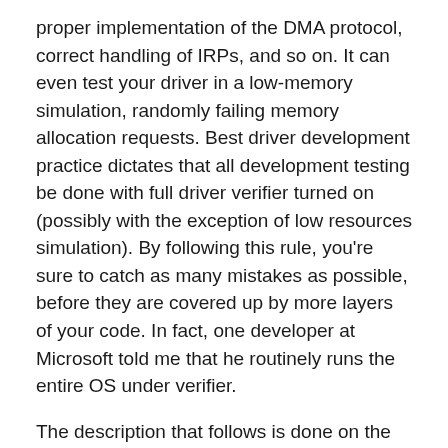proper implementation of the DMA protocol, correct handling of IRPs, and so on. It can even test your driver in a low-memory simulation, randomly failing memory allocation requests. Best driver development practice dictates that all development testing be done with full driver verifier turned on (possibly with the exception of low resources simulation). By following this rule, you're sure to catch as many mistakes as possible, before they are covered up by more layers of your code. In fact, one developer at Microsoft told me that he routinely runs the entire OS under verifier.
The description that follows is done on the current 64-bit XP preview release, but other OSes are similar. To enable this magic, it's easiest to start verifier.exe from the Start->Run box. Although there is another registry-based way to configure verifier, I won't go into it here – operate Regmon if you're curious. Choose "Create custom